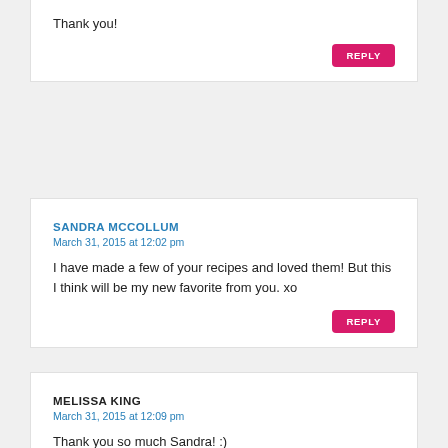Thank you!
REPLY
SANDRA MCCOLLUM
March 31, 2015 at 12:02 pm
I have made a few of your recipes and loved them! But this I think will be my new favorite from you. xo
REPLY
MELISSA KING
March 31, 2015 at 12:09 pm
Thank you so much Sandra! :)
REPLY